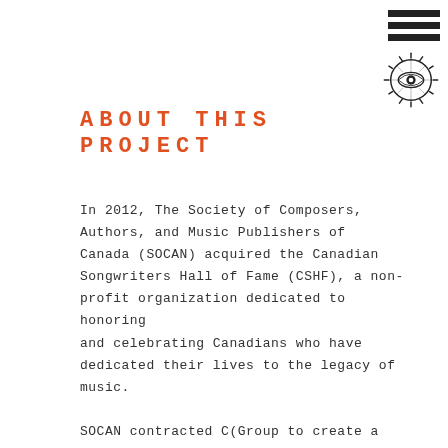[Figure (illustration): Three horizontal black hamburger menu lines stacked vertically, and below them a circular eye logo with radiating lines around an eye illustration, in black and white.]
ABOUT THIS PROJECT
In 2012, The Society of Composers, Authors, and Music Publishers of Canada (SOCAN) acquired the Canadian Songwriters Hall of Fame (CSHF), a non-profit organization dedicated to honoring and celebrating Canadians who have dedicated their lives to the legacy of music.
SOCAN contracted C(Group to create a new logo for CSHF that communicated the organization's new brand identity. The new logo needed to properly portray the organization's mission while fitting